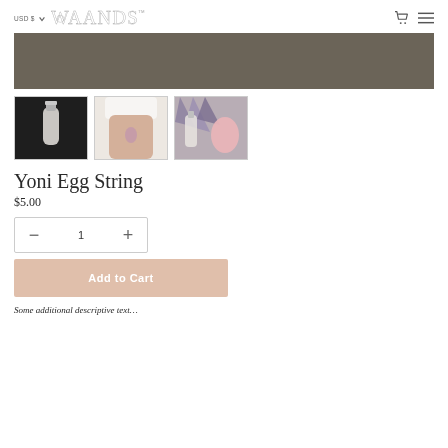USD $ WAANDS™
[Figure (photo): Gray decorative banner hero image area]
[Figure (photo): Three product thumbnail images: a glass bottle with white crystals, a person wearing a yoni egg, and a rose quartz egg with amethyst and glass bottle]
Yoni Egg String
$5.00
Quantity control: minus, 1, plus
Add to Cart
Some additional descriptive text (partially visible)